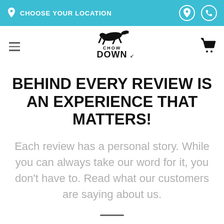CHOOSE YOUR LOCATION
[Figure (logo): Chow Down logo with dog silhouette jumping over text]
BEHIND EVERY REVIEW IS AN EXPERIENCE THAT MATTERS!
Each review has a personal story. While you can always take our word for it, you don't have to. Read what our customers are saying about us.